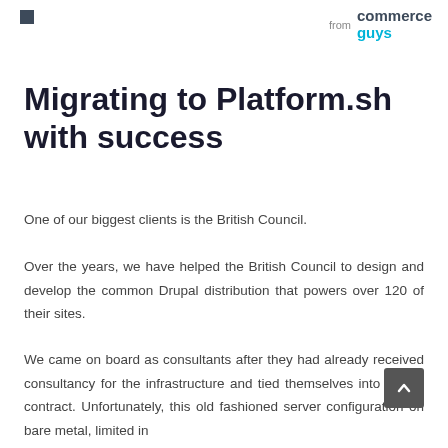from commerce guys
Migrating to Platform.sh with success
One of our biggest clients is the British Council.
Over the years, we have helped the British Council to design and develop the common Drupal distribution that powers over 120 of their sites.
We came on board as consultants after they had already received consultancy for the infrastructure and tied themselves into a long contract. Unfortunately, this old fashioned server configuration on bare metal, limited in